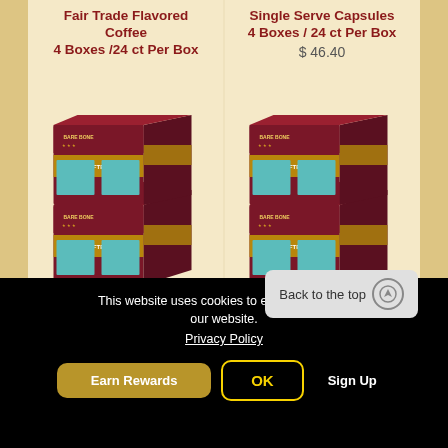Fair Trade Flavored Coffee 4 Boxes /24 ct Per Box
Single Serve Capsules 4 Boxes / 24 ct Per Box
$ 46.40
[Figure (photo): Stack of 4 dark red coffee boxes labeled BARE BONES HANDCRAFTED COFFEE with teal product labels on front panels]
[Figure (photo): Stack of 4 dark red coffee boxes labeled BARE BONES HANDCRAFTED COFFEE with teal product labels on front panels]
This website uses cookies to ensure you get the best experience on our website.
Privacy Policy
Back to the top
Earn Rewards
OK
Sign Up